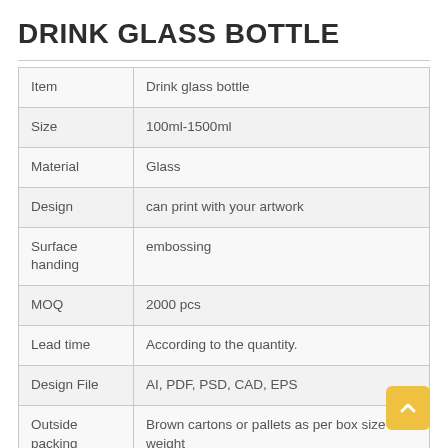DRINK GLASS BOTTLE
| Item | Drink glass bottle |
| Size | 100ml-1500ml |
| Material | Glass |
| Design | can print with your artwork |
| Surface handing | embossing |
| MOQ | 2000 pcs |
| Lead time | According to the quantity. |
| Design File | AI, PDF, PSD, CAD, EPS |
| Outside packing | Brown cartons or pallets as per box size and weight |